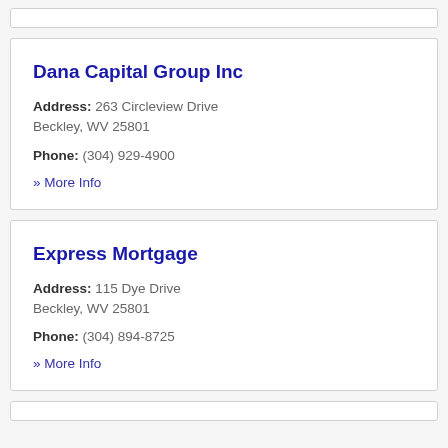Dana Capital Group Inc
Address: 263 Circleview Drive Beckley, WV 25801
Phone: (304) 929-4900
» More Info
Express Mortgage
Address: 115 Dye Drive Beckley, WV 25801
Phone: (304) 894-8725
» More Info